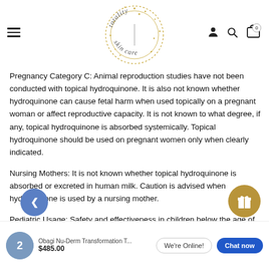[Figure (logo): Totality Skincare circular logo with gold star decorations]
Pregnancy Category C: Animal reproduction studies have not been conducted with topical hydroquinone. It is also not known whether hydroquinone can cause fetal harm when used topically on a pregnant woman or affect reproductive capacity. It is not known to what degree, if any, topical hydroquinone is absorbed systemically. Topical hydroquinone should be used on pregnant women only when clearly indicated.
Nursing Mothers: It is not known whether topical hydroquinone is absorbed or excreted in human milk. Caution is advised when hydroquinone is used by a nursing mother.
Pediatric Usage: Safety and effectiveness in children below the age of
Obagi Nu-Derm Transformation T... $485.00
We're Online!   Chat now